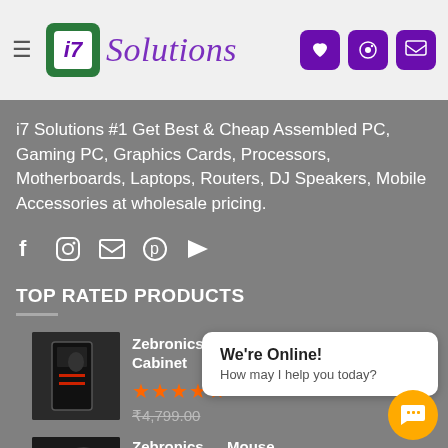i7 Solutions
i7 Solutions #1 Get Best & Cheap Assembled PC, Gaming PC, Graphics Cards, Processors, Motherboards, Laptops, Routers, DJ Speakers, Mobile Accessories at wholesale pricing.
TOP RATED PRODUCTS
Zebronics Magnum Premium Gaming Cabinet
★★★★★ ₹4,799.00
Zebronics … Mouse Pad
We're Online! How may I help you today?